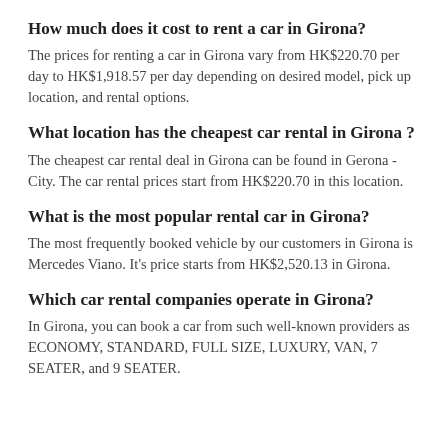How much does it cost to rent a car in Girona?
The prices for renting a car in Girona vary from HK$220.70 per day to HK$1,918.57 per day depending on desired model, pick up location, and rental options.
What location has the cheapest car rental in Girona ?
The cheapest car rental deal in Girona can be found in Gerona - City. The car rental prices start from HK$220.70 in this location.
What is the most popular rental car in Girona?
The most frequently booked vehicle by our customers in Girona is Mercedes Viano. It's price starts from HK$2,520.13 in Girona.
Which car rental companies operate in Girona?
In Girona, you can book a car from such well-known providers as ECONOMY, STANDARD, FULL SIZE, LUXURY, VAN, 7 SEATER, and 9 SEATER.